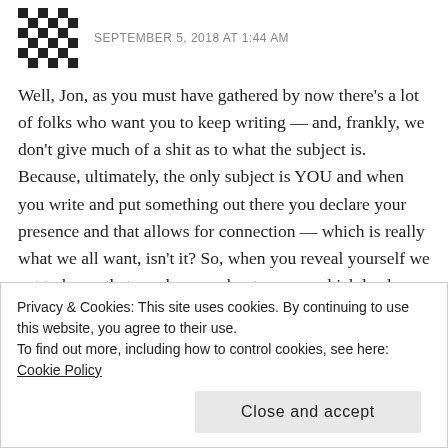SEPTEMBER 5, 2018 AT 1:44 AM
Well, Jon, as you must have gathered by now there’s a lot of folks who want you to keep writing — and, frankly, we don’t give much of a shit as to what the subject is. Because, ultimately, the only subject is YOU and when you write and put something out there you declare your presence and that allows for connection — which is really what we all want, isn’t it? So, when you reveal yourself we get to know that much more about you — which leads us to know that much more about ourselves. Which
Privacy & Cookies: This site uses cookies. By continuing to use this website, you agree to their use.
To find out more, including how to control cookies, see here: Cookie Policy
Close and accept